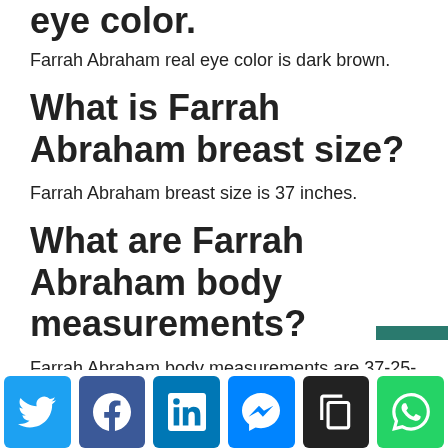eye color.
Farrah Abraham real eye color is dark brown.
What is Farrah Abraham breast size?
Farrah Abraham breast size is 37 inches.
What are Farrah Abraham body measurements?
Farrah Abraham body measurements are 37-25-35 inches
[Figure (other): Social share bar with Twitter, Facebook, LinkedIn, Messenger, Copy, and WhatsApp buttons]